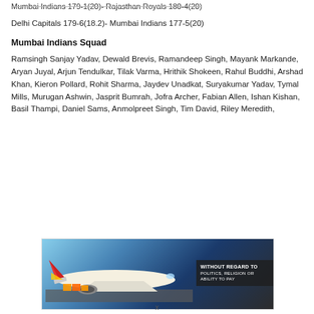Mumbai Indians 179-1(20)- Rajasthan Royals 180-4(20)
Delhi Capitals 179-6(18.2)- Mumbai Indians 177-5(20)
Mumbai Indians Squad
Ramsingh Sanjay Yadav, Dewald Brevis, Ramandeep Singh, Mayank Markande, Aryan Juyal, Arjun Tendulkar, Tilak Varma, Hrithik Shokeen, Rahul Buddhi, Arshad Khan, Kieron Pollard, Rohit Sharma, Jaydev Unadkat, Suryakumar Yadav, Tymal Mills, Murugan Ashwin, Jasprit Bumrah, Jofra Archer, Fabian Allen, Ishan Kishan, Basil Thampi, Daniel Sams, Anmolpreet Singh, Tim David, Riley Meredith,
[Figure (photo): Advertisement banner showing a cargo aircraft being loaded with freight. Text overlay reads 'WITHOUT REGARD TO POLITICS, RELIGION OR ABILITY TO PAY']
x